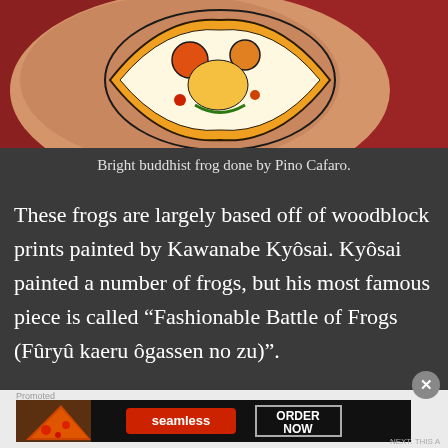[Figure (photo): Close-up photo of a colorful Buddhist frog tattoo on skin, with red background clothing visible. The tattoo features bright colors including orange, red, yellow and green.]
Bright buddhist frog done by Pino Cafaro.
These frogs are largely based off of woodblock prints painted by Kawanabe Kyôsai. Kyôsai painted a number of frogs, but his most famous piece is called “Fashionable Battle of Frogs (Fûryû kaeru ôgassen no zu)”.
[Figure (other): Advertisement banner for Seamless food ordering service, showing pizza image on left, red Seamless logo button in center, and ORDER NOW button on right, on dark background.]